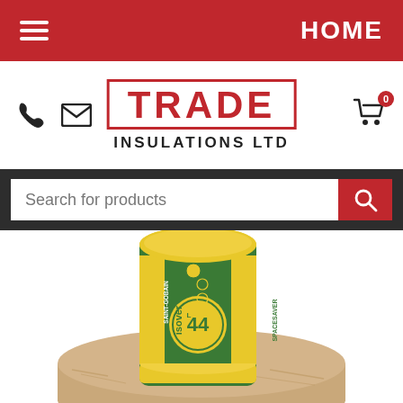HOME
[Figure (logo): Trade Insulations Ltd logo with red border box containing the word TRADE in distressed red text, and INSULATIONS LTD in bold black below]
[Figure (screenshot): Search bar with placeholder text 'Search for products' on dark background with red search button]
[Figure (photo): Isover Saint-Gobain Spacesaver L44 insulation roll product, yellow and green packaging with rolled mineral wool insulation visible at bottom]